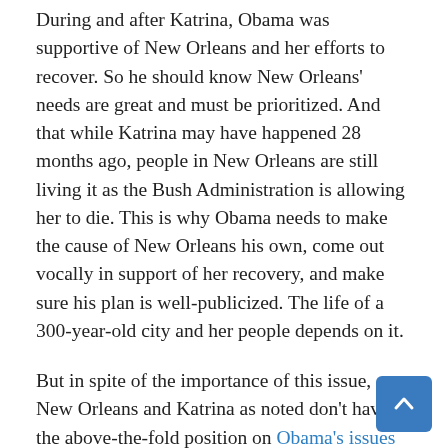During and after Katrina, Obama was supportive of New Orleans and her efforts to recover. So he should know New Orleans' needs are great and must be prioritized. And that while Katrina may have happened 28 months ago, people in New Orleans are still living it as the Bush Administration is allowing her to die. This is why Obama needs to make the cause of New Orleans his own, come out vocally in support of her recovery, and make sure his plan is well-publicized. The life of a 300-year-old city and her people depends on it.
But in spite of the importance of this issue, New Orleans and Katrina as noted don't have the above-the-fold position on Obama's issues page. And how many (especially media people with tight deadlines) are going to do the digging to unearth Obama's recovery plan? The fact that this is not front-paged seems to discount New Orleans' flooding, the destruction of many coastal Louisiana and Mississippi communities, and the fact that